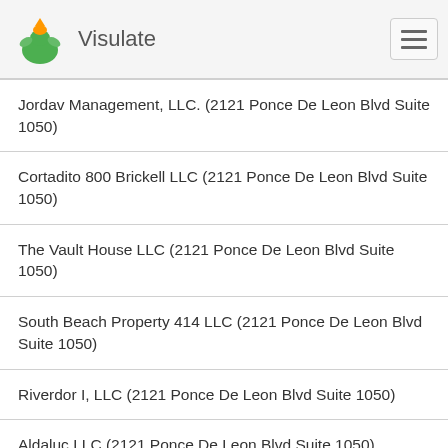Visulate
Jordav Management, LLC. (2121 Ponce De Leon Blvd Suite 1050)
Cortadito 800 Brickell LLC (2121 Ponce De Leon Blvd Suite 1050)
The Vault House LLC (2121 Ponce De Leon Blvd Suite 1050)
South Beach Property 414 LLC (2121 Ponce De Leon Blvd Suite 1050)
Riverdor I, LLC (2121 Ponce De Leon Blvd Suite 1050)
Aldaluc LLC (2121 Ponce De Leon Blvd Suite 1050)
V.L.R.E., Inc. (2121 Ponce De Leon Blvd Suite 1050)
11400 Nw Doral Corp. (2121 Ponce De Leon Blvd Suite 1050)
2803 Blue Diamond, Inc. (2121 Ponce De Leon Blvd Suite 1050)